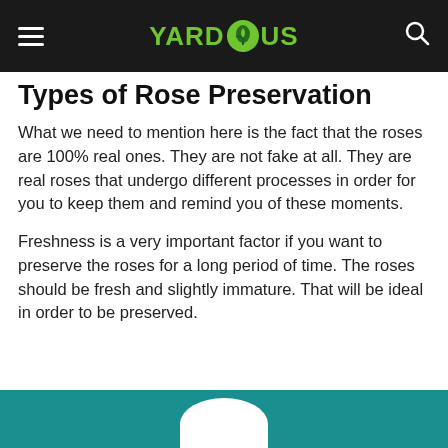YARDIOUS
Types of Rose Preservation
What we need to mention here is the fact that the roses are 100% real ones. They are not fake at all. They are real roses that undergo different processes in order for you to keep them and remind you of these moments.
Freshness is a very important factor if you want to preserve the roses for a long period of time. The roses should be fresh and slightly immature. That will be ideal in order to be preserved.
[Figure (illustration): Teal colored banner with white arc shape at the bottom of the page]